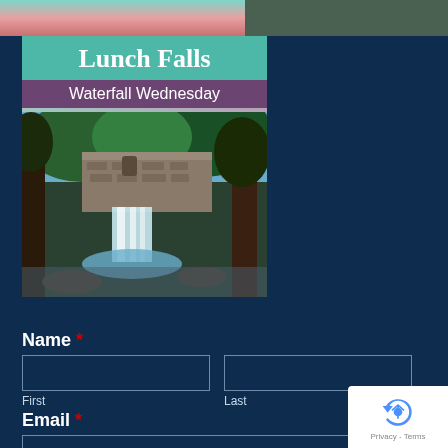[Figure (photo): Top banner area with two images side by side: left portion shows striped pink/teal pattern, right portion shows a dark rocky nature scene]
[Figure (illustration): Book or card graphic showing 'Lunch Falls' title in teal header, 'Waterfall Wednesday' purple subtitle, and a painted illustration of a waterfall with a stone mill building surrounded by trees]
Name *
First
Last
Email *